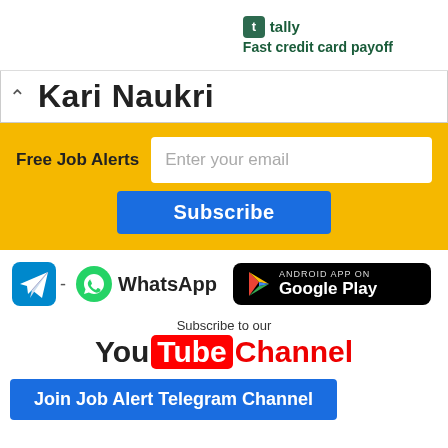[Figure (screenshot): Tally app advertisement banner with logo and 'Fast credit card payoff' tagline]
Kari Naukri
Free Job Alerts — Enter your email — Subscribe
[Figure (logo): Telegram icon, WhatsApp icon with text, Android App on Google Play button]
[Figure (logo): Subscribe to our YouTube Channel]
Join Job Alert Telegram Channel